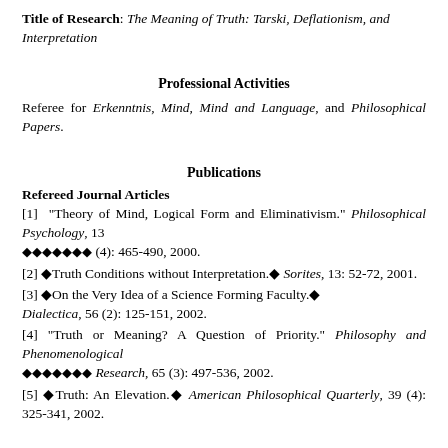Title of Research: The Meaning of Truth: Tarski, Deflationism, and Interpretation
Professional Activities
Referee for Erkenntnis, Mind, Mind and Language, and Philosophical Papers.
Publications
Refereed Journal Articles
[1] "Theory of Mind, Logical Form and Eliminativism." Philosophical Psychology, 13 &#9674;&#9674;&#9674;&#9674;&#9674;&#9674;&#9674; (4): 465-490, 2000.
[2] ◆Truth Conditions without Interpretation.◆ Sorites, 13: 52-72, 2001.
[3] ◆On the Very Idea of a Science Forming Faculty.◆ Dialectica, 56 (2): 125-151, 2002.
[4] "Truth or Meaning? A Question of Priority." Philosophy and Phenomenological ◆◆◆◆◆◆◆ Research, 65 (3): 497-536, 2002.
[5] ◆Truth: An Elevation.◆ American Philosophical Quarterly, 39 (4): 325-341, 2002.